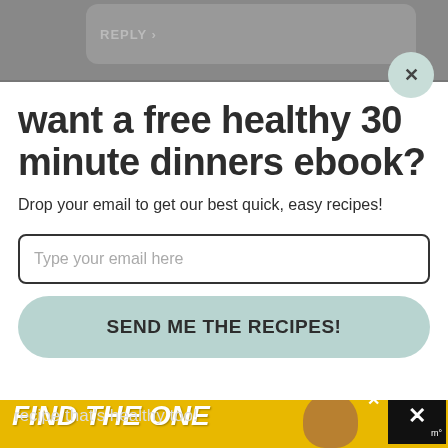[Figure (screenshot): Dimmed background with a reply comment box at top]
want a free healthy 30 minute dinners ebook?
Drop your email to get our best quick, easy recipes!
Type your email here
SEND ME THE RECIPES!
recipe that's healthy too!
[Figure (screenshot): Ad banner: FIND THE ONE with dog photo, yellow background]